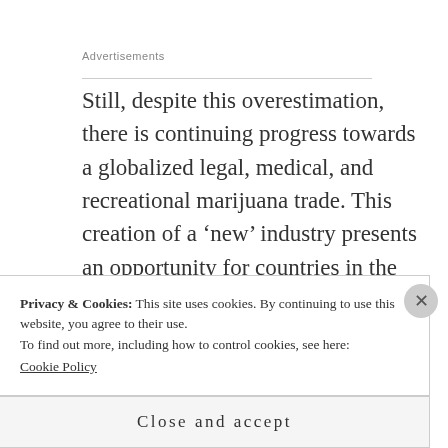Advertisements
Still, despite this overestimation, there is continuing progress towards a globalized legal, medical, and recreational marijuana trade. This creation of a ‘new’ industry presents an opportunity for countries in the global south, particularly those historically
Privacy & Cookies: This site uses cookies. By continuing to use this website, you agree to their use.
To find out more, including how to control cookies, see here:
Cookie Policy
Close and accept